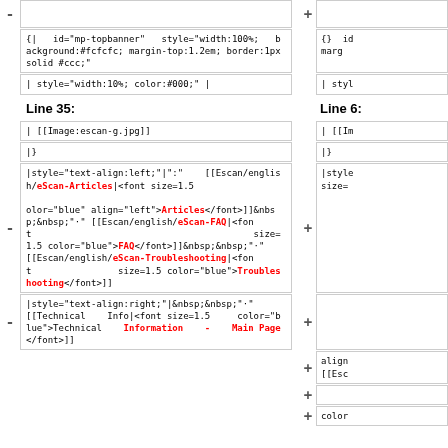[Figure (screenshot): Diff view of wiki markup showing two columns. Left column has removed lines (yellow background, minus markers) and right column has added lines (green background, plus markers). Shows wiki template code for eScan navigation including links to eScan-Articles, eScan-FAQ, eScan-Troubleshooting, and Technical Information Main Page sections. Line 35 and Line 6 headers shown.]
- [yellow highlighted row at top]
{|  id="mp-topbanner"  style="width:100%;  background:#fcfcfc; margin-top:1.2em; border:1px solid #ccc;"
| style="width:10%; color:#000;" |
Line 35:
Line 6:
| [[Image:escan-g.jpg]]
|}
|style="text-align:left;"|":"    [[Escan/english/eScan-Articles|<font size=1.5                                                          color="blue" align="left">Articles</font>]]&nbsp;&nbsp;"·"    [[Escan/english/eScan-FAQ|<font size=1.5 color="blue">FAQ</font>]]&nbsp;&nbsp;"·"    [[Escan/english/eScan-Troubleshooting|<font size=1.5 color="blue">Troubleshooting</font>]]
|style="text-align:right;"&nbsp;&nbsp;"·"    [[Technical    Info|<font size=1.5    color="blue">Technical    Information    -    Main Page</font>]]